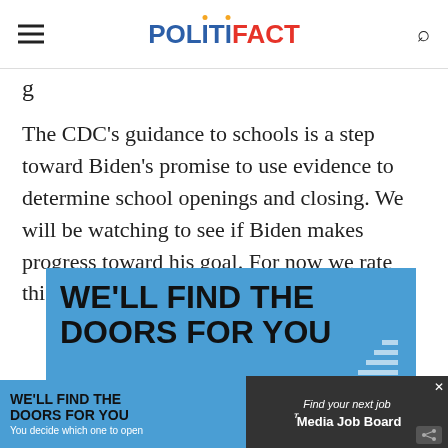POLITIFACT
The CDC's guidance to schools is a step toward Biden's promise to use evidence to determine school openings and closing. We will be watching to see if Biden makes progress toward his goal. For now we rate this promise In the Works.
[Figure (infographic): Advertisement banner: blue background with bold text 'WE'LL FIND THE DOORS FOR YOU'. Below it a smaller repeat of the ad alongside a Media Job Board ad panel.]